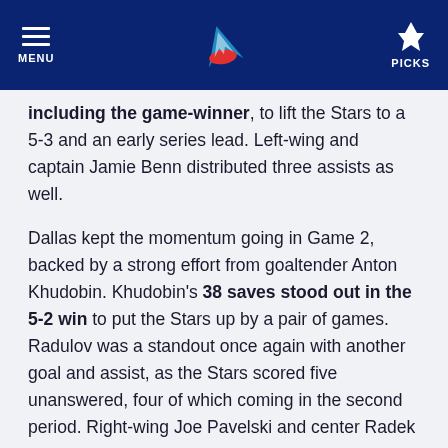MENU | [logo] | PICKS
including the game-winner, to lift the Stars to a 5-3 and an early series lead. Left-wing and captain Jamie Benn distributed three assists as well.
Dallas kept the momentum going in Game 2, backed by a strong effort from goaltender Anton Khudobin. Khudobin's 38 saves stood out in the 5-2 win to put the Stars up by a pair of games. Radulov was a standout once again with another goal and assist, as the Stars scored five unanswered, four of which coming in the second period. Right-wing Joe Pavelski and center Radek Faksa were among those who scored for Dallas.
Facing a crippling 0-3 deficit in the series, the Avalanche got back in the series with a 6-4 victory. Down by a goal with less